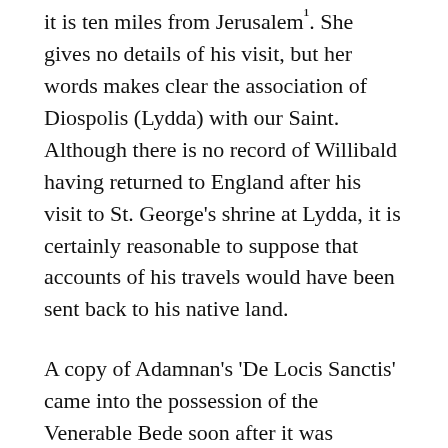it is ten miles from Jerusalem¹. She gives no details of his visit, but her words makes clear the association of Diospolis (Lydda) with our Saint. Although there is no record of Willibald having returned to England after his visit to St. George’s shrine at Lydda, it is certainly reasonable to suppose that accounts of his travels would have been sent back to his native land.
A copy of Adamnan’s ‘De Locis Sanctis’ came into the possession of the Venerable Bede soon after it was written. He used it extensively for the writing of his own work of the same name, and included excerpts from it in Chapters 15 & 16, Book 5, of his ‘History of the English Church and People’, but he omitted the section describing the miracles attributed to St. George at Lydda. This is not altogether surprising, since Bede’s work, unlike